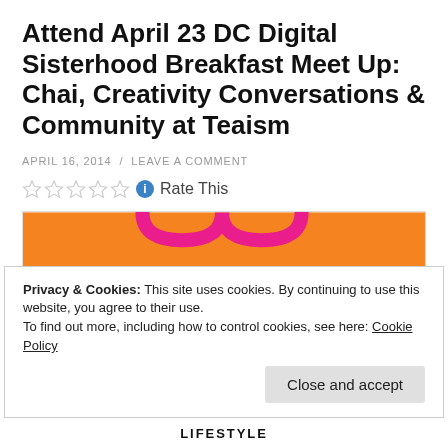Attend April 23 DC Digital Sisterhood Breakfast Meet Up: Chai, Creativity Conversations & Community at Teaism
APRIL 16, 2014 / LEAVE A COMMENT
Rate This
[Figure (logo): Digital Sisterhood logo on orange background with pink border, showing text 'digital' and partial lower text]
Privacy & Cookies: This site uses cookies. By continuing to use this website, you agree to their use. To find out more, including how to control cookies, see here: Cookie Policy
Close and accept
LIFESTYLE